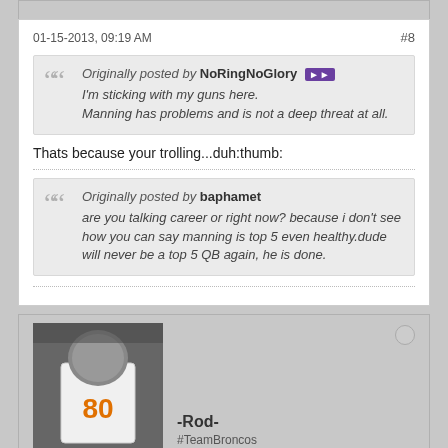01-15-2013, 09:19 AM
#8
Originally posted by NoRingNoGlory
I'm sticking with my guns here.
Manning has problems and is not a deep threat at all.
Thats because your trolling...duh:thumb:
Originally posted by baphamet
are you talking career or right now? because i don't see how you can say manning is top 5 even healthy.dude will never be a top 5 QB again, he is done.
-Rod-
#TeamBroncos
[Figure (photo): Forum user avatar showing a football player wearing jersey number 80 for the Denver Broncos]
[Figure (other): Offline status indicator circle]